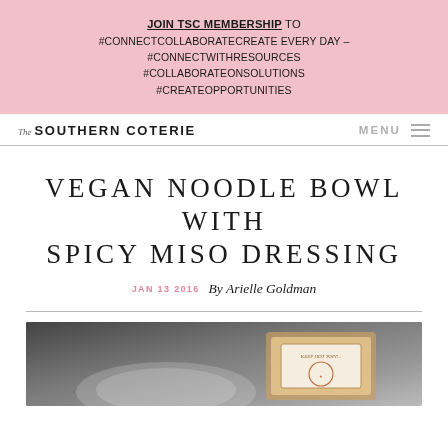JOIN TSC MEMBERSHIP TO #CONNECTCOLLABORATECREATE EVERY DAY – #CONNECTWITHRESOURCES #COLLABORATEONSOLUTIONS #CREATEOPPORTUNITIES
The SOUTHERN COTERIE MENU
VEGAN NOODLE BOWL WITH SPICY MISO DRESSING
JAN 13 2016 By Arielle Goldman
[Figure (photo): Photo of a vegan noodle bowl dish, partially visible at the bottom of the page, with a wooden element and a small illustrated label visible]